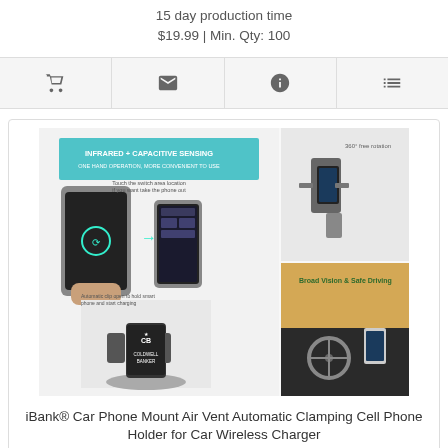15 day production time
$19.99 | Min. Qty: 100
[Figure (infographic): Product composite image showing wireless car phone mount with infrared + capacitive sensing technology, 360 degree rotation, broad vision and safe driving features, with Coldwell Banker logo branding]
iBank® Car Phone Mount Air Vent Automatic Clamping Cell Phone Holder for Car Wireless Charger